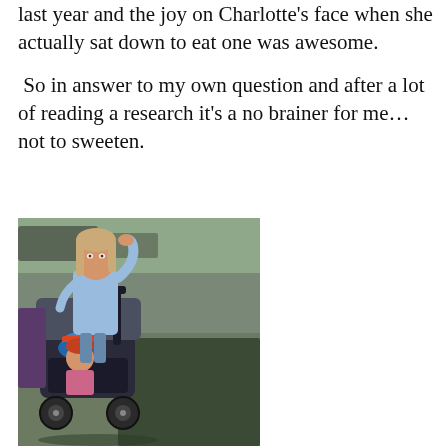last year and the joy on Charlotte's face when she actually sat down to eat one was awesome.
So in answer to my own question and after a lot of reading a research it's a no brainer for me…not to sweeten.
[Figure (photo): Two children outdoors on a beach or paved area. An older girl in a light blue top stands behind a stroller/pushchair containing a younger child wearing a colorful hat. The older girl has her hand raised to her head. The stroller is dark grey/purple.]